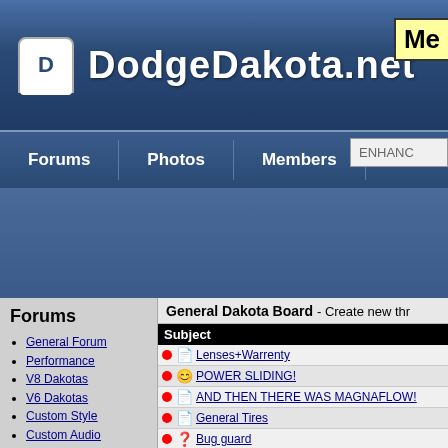DodgeDakota.net
DodgeDakota.net
Forums | Photos | Members | ENHANC
Forums
General Forum
Performance
V8 Dakotas
V6 Dakotas
Custom Style
Custom Audio
Off Road
Raised Dakotas
Lowered Daks
Dealer/Recalls
Members Only
| Subject |
| --- |
| Lenses+Warrenty |
| POWER SLIDING! |
| AND THEN THERE WAS MAGNAFLOW! |
| General Tires |
| Bug guard |
| '00 Steering play? |
| just muf or catbac sys |
| which headlight bulb?? |